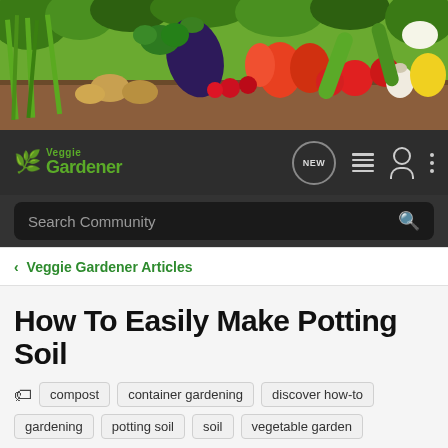[Figure (photo): Banner photo of colorful fresh vegetables including eggplant, tomatoes, peppers, garlic, zucchini, green onions, potatoes, and herbs arranged on a surface.]
Veggie Gardener — Navigation bar with NEW bubble, list icon, user icon, and more icon
Search Community
< Veggie Gardener Articles
How To Easily Make Potting Soil
compost
container gardening
discover how-to
gardening
potting soil
soil
vegetable garden
→ Jump to Latest